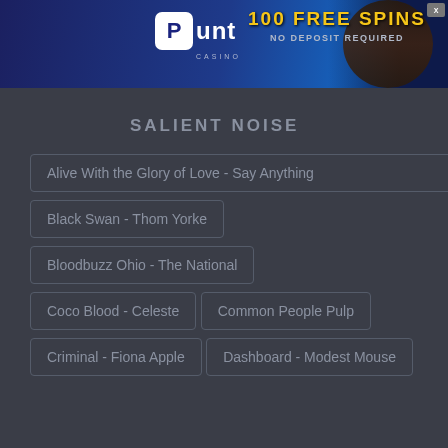[Figure (photo): Punt Casino advertisement banner with logo, '100 FREE SPINS' and 'NO DEPOSIT REQUIRED' text on dark blue background with a person celebrating.]
SALIENT NOISE
Alive With the Glory of Love - Say Anything
Black Swan - Thom Yorke
Bloodbuzz Ohio - The National
Coco Blood - Celeste
Common People Pulp
Criminal - Fiona Apple
Dashboard - Modest Mouse